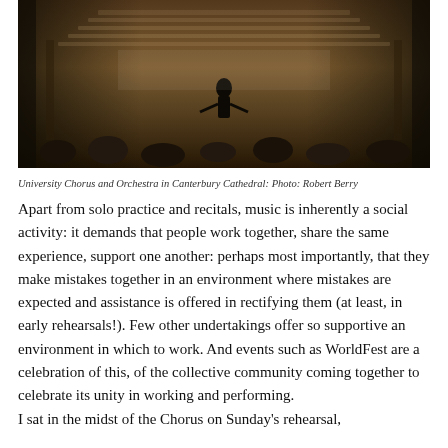[Figure (photo): University Chorus and Orchestra performing in Canterbury Cathedral, viewed from behind the conductor facing rows of choir singers in white, with audience seated in the foreground]
University Chorus and Orchestra in Canterbury Cathedral: Photo: Robert Berry
Apart from solo practice and recitals, music is inherently a social activity: it demands that people work together, share the same experience, support one another: perhaps most importantly, that they make mistakes together in an environment where mistakes are expected and assistance is offered in rectifying them (at least, in early rehearsals!). Few other undertakings offer so supportive an environment in which to work. And events such as WorldFest are a celebration of this, of the collective community coming together to celebrate its unity in working and performing.
I sat in the midst of the Chorus on Sunday's rehearsal, looking in that crowd of choristers really healthy and...